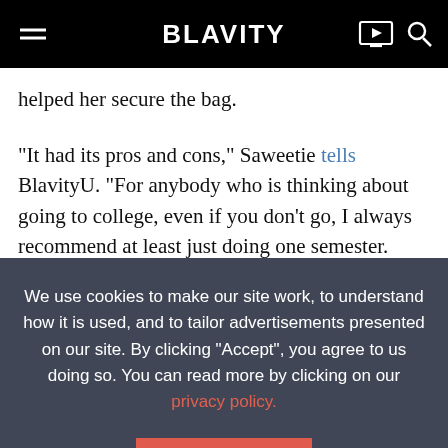BLAVITY
helped her secure the bag.
"It had its pros and cons," Saweetie tells BlavityU. "For anybody who is thinking about going to college, even if you don't go, I always recommend at least just doing one semester.  Besides the classes and the professors, which can be sometimes good or bad, sometimes you meet really
We use cookies to make our site work, to understand how it is used, and to tailor advertisements presented on our site. By clicking "Accept", you agree to us doing so. You can read more by clicking on our privacy policy.
Accept